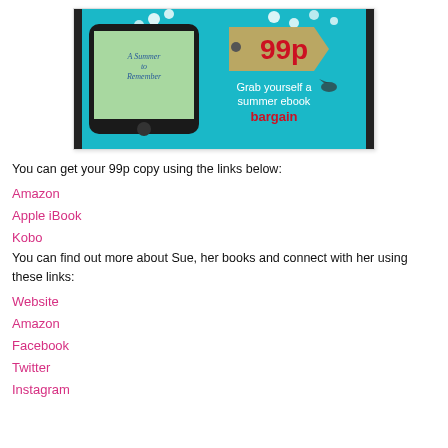[Figure (illustration): Promotional banner for a book called 'A Summer to Remember' by Sue Moorcroft showing 99p ebook deal with text 'Grab yourself a summer ebook bargain' on a teal background with flowers]
You can get your 99p copy using the links below:
Amazon
Apple iBook
Kobo
You can find out more about Sue, her books and connect with her using these links:
Website
Amazon
Facebook
Twitter
Instagram